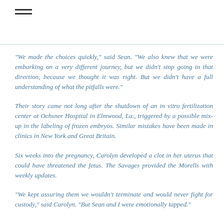≡
"We made the choices quickly," said Sean. "We also knew that we were embarking on a very different journey, but we didn't stop going in that direction, because we thought it was right. But we didn't have a full understanding of what the pitfalls were."
Their story came not long after the shutdown of an in vitro fertilization center at Ochsner Hospital in Elmwood, La., triggered by a possible mix-up in the labeling of frozen embryos. Similar mistakes have been made in clinics in New York and Great Britain.
Six weeks into the pregnancy, Carolyn developed a clot in her uterus that could have threatened the fetus. The Savages provided the Morells with weekly updates.
"We kept assuring them we wouldn't terminate and would never fight for custody," said Carolyn. "But Sean and I were emotionally tapped."